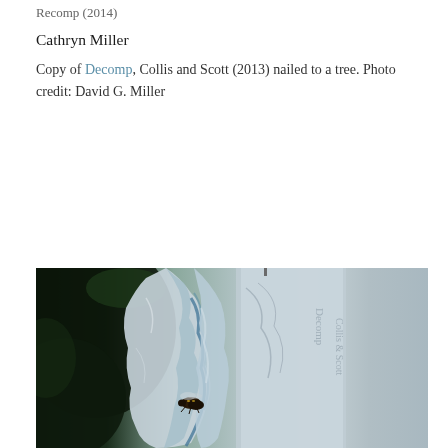Recomp (2014)
Cathryn Miller
Copy of Decomp, Collis and Scott (2013) nailed to a tree. Photo credit: David G. Miller
[Figure (photo): Close-up photograph of a deteriorating book (Decomp) nailed to a tree, with blue and white decomposed pages and a wasp/bee on the lower portion of the book.]